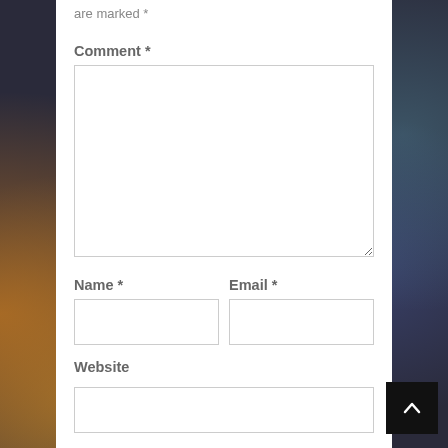are marked *
Comment *
[comment textarea]
Name *
Email *
[name input]
[email input]
Website
[website input]